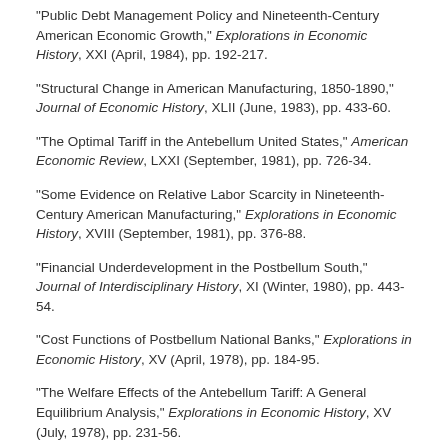"Public Debt Management Policy and Nineteenth-Century American Economic Growth," Explorations in Economic History, XXI (April, 1984), pp. 192-217.
"Structural Change in American Manufacturing, 1850-1890," Journal of Economic History, XLII (June, 1983), pp. 433-60.
"The Optimal Tariff in the Antebellum United States," American Economic Review, LXXI (September, 1981), pp. 726-34.
"Some Evidence on Relative Labor Scarcity in Nineteenth-Century American Manufacturing," Explorations in Economic History, XVIII (September, 1981), pp. 376-88.
"Financial Underdevelopment in the Postbellum South," Journal of Interdisciplinary History, XI (Winter, 1980), pp. 443-54.
"Cost Functions of Postbellum National Banks," Explorations in Economic History, XV (April, 1978), pp. 184-95.
"The Welfare Effects of the Antebellum Tariff: A General Equilibrium Analysis," Explorations in Economic History, XV (July, 1978), pp. 231-56.
"Banking Market Structure, Risk, and the Pattern of Local Interest